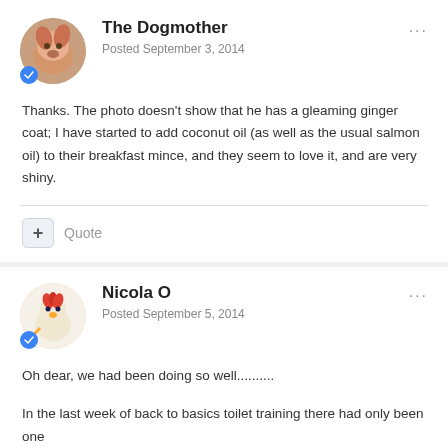The Dogmother
Posted September 3, 2014
Thanks. The photo doesn't show that he has a gleaming ginger coat; I have started to add coconut oil (as well as the usual salmon oil) to their breakfast mince, and they seem to love it, and are very shiny.
Quote
Nicola O
Posted September 5, 2014
Oh dear, we had been doing so well..........
In the last week of back to basics toilet training there had only been one